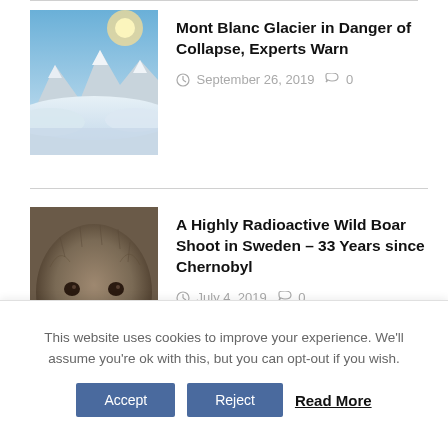[Figure (photo): Mountain scene with Mont Blanc glacier above clouds, aerial view with blue sky]
Mont Blanc Glacier in Danger of Collapse, Experts Warn
September 26, 2019   0
[Figure (photo): Close-up of a wild boar face, fur and eye visible]
A Highly Radioactive Wild Boar Shoot in Sweden – 33 Years since Chernobyl
July 4, 2019   0
This website uses cookies to improve your experience. We'll assume you're ok with this, but you can opt-out if you wish.
Accept   Reject   Read More